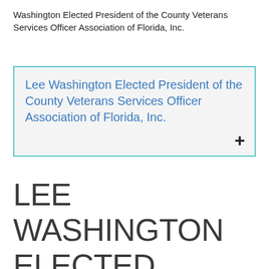Washington Elected President of the County Veterans Services Officer Association of Florida, Inc.
Lee Washington Elected President of the County Veterans Services Officer Association of Florida, Inc.
LEE WASHINGTON ELECTED PRESIDENT OF THE COUNTY VETERANS SERVICES OFFICER ASSOCIATION OF FLORIDA